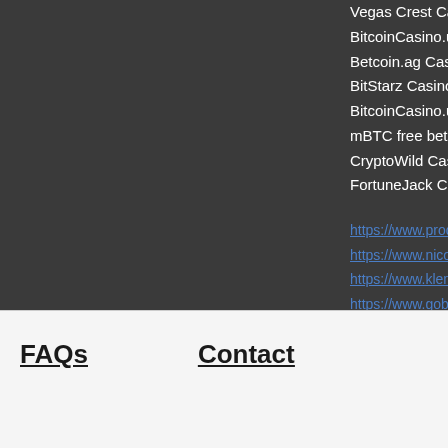Vegas Crest Casino
BitcoinCasino.us G
Betcoin.ag Casino A
BitStarz Casino Gir
BitcoinCasino.us Pi
mBTC free bet Drac
CryptoWild Casino
FortuneJack Casino
https://www.prodan
https://www.nicolas-
https://www.kleng.n
https://www.gobelie
FAQs
Contact
©2022 Visual Art Ltd . All Righ